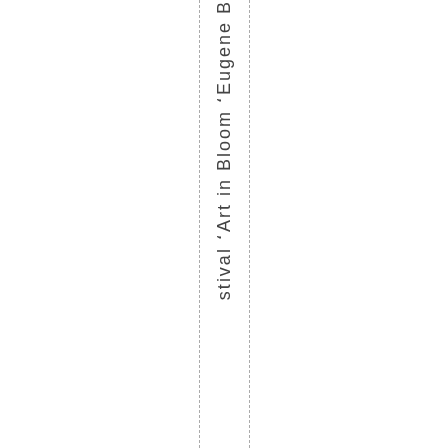stival 'Art in Bloom 'Eugene B